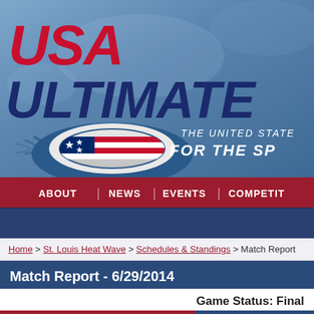[Figure (screenshot): USA Ultimate website header with logo, disc graphic, tagline 'THE UNITED STATES... FOR THE SP...' and navigation bar with ABOUT, NEWS, EVENTS, COMPETI... links]
Home > St. Louis Heat Wave > Schedules & Standings > Match Report
Match Report - 6/29/2014
Game Status: Final
pARCHed (5)
Troy's Buck...